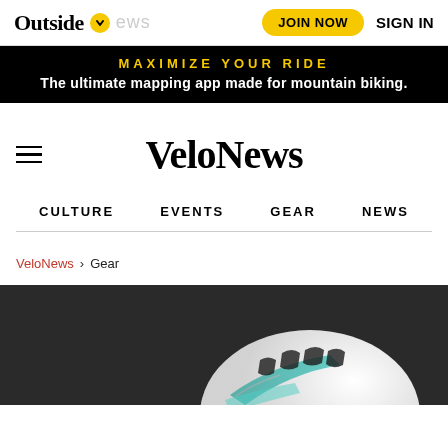Outside News | JOIN NOW | SIGN IN
MAXIMIZE YOUR RIDE
The ultimate mapping app made for mountain biking.
VeloNews
CULTURE   EVENTS   GEAR   NEWS
VeloNews > Gear
[Figure (photo): White bicycle helmet on dark background]